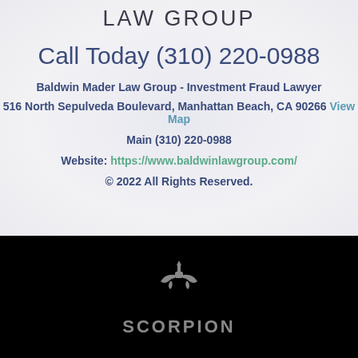LAW GROUP
Call Today (310) 220-0988
Baldwin Mader Law Group - Investment Fraud Lawyer
516 North Sepulveda Boulevard, Manhattan Beach, CA 90266 View Map
Main (310) 220-0988
Website: https://www.baldwinlawgroup.com/
© 2022 All Rights Reserved.
[Figure (logo): Scorpion logo — stylized scorpion icon in gray above the word SCORPION in gray block letters on black background]